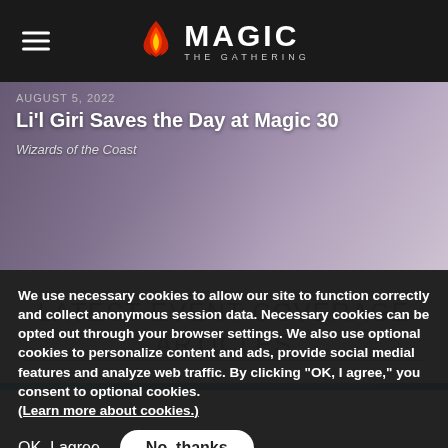Magic: The Gathering
Li'l Giri Saves the Day at Magic 30
Wizards of the Coast
LATEST EVENT COVERAGE ARTICLES
We use necessary cookies to allow our site to function correctly and collect anonymous session data. Necessary cookies can be opted out through your browser settings. We also use optional cookies to personalize content and ads, provide social medial features and analyze web traffic. By clicking "OK, I agree," you consent to optional cookies. (Learn more about cookies.)
OK, I agree
No, thanks